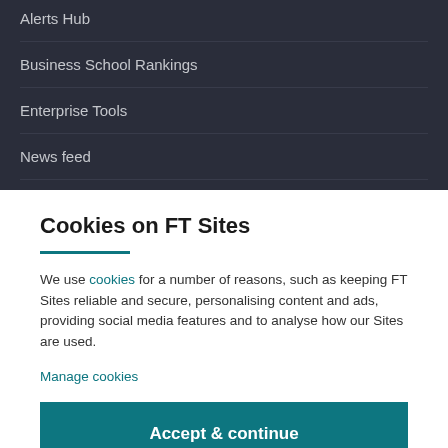Alerts Hub
Business School Rankings
Enterprise Tools
News feed
Cookies on FT Sites
We use cookies for a number of reasons, such as keeping FT Sites reliable and secure, personalising content and ads, providing social media features and to analyse how our Sites are used.
Manage cookies
Accept & continue